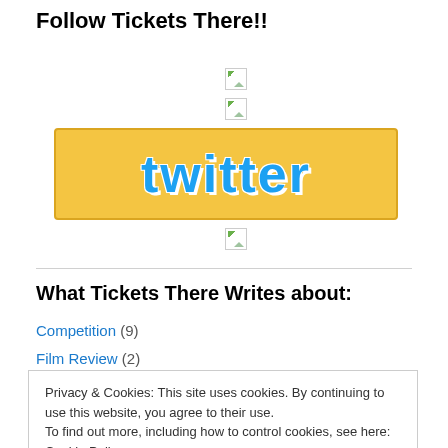Follow Tickets There!!
[Figure (illustration): Broken image placeholder icon (small)]
[Figure (illustration): Broken image placeholder icon (small)]
[Figure (logo): Twitter logo banner with yellow background and blue Twitter text]
[Figure (illustration): Broken image placeholder icon (small)]
What Tickets There Writes about:
Competition (9)
Film Review (2)
Privacy & Cookies: This site uses cookies. By continuing to use this website, you agree to their use.
To find out more, including how to control cookies, see here: Cookie Policy
Close and accept